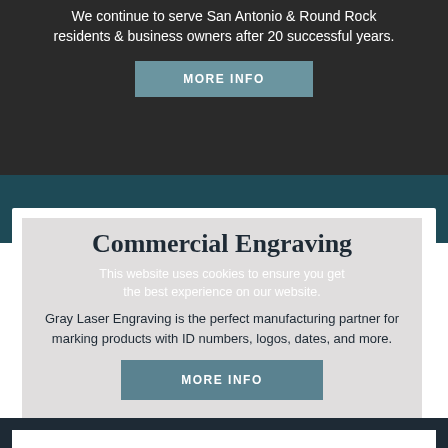We continue to serve San Antonio & Round Rock residents & business owners after 20 successful years.
MORE INFO
Commercial Engraving
This website uses cookies to ensure you get the best experience on our website.
Gray Laser Engraving is the perfect manufacturing partner for marking products with ID numbers, logos, dates, and more.
MORE INFO